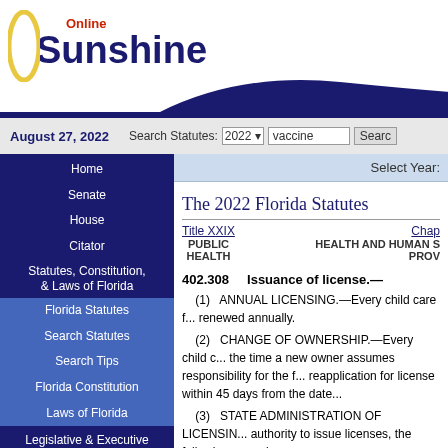[Figure (logo): Online Sunshine logo with arc graphic and blue/red text]
August 27, 2022   Search Statutes: 2022 ▾  vaccine  [Search]
Home
Senate
House
Citator
Statutes, Constitution, & Laws of Florida
Florida Statutes
Search Statutes
Search Tips
Florida Constitution
Laws of Florida
Legislative & Executive Branch Lobbyists
Information Center
Joint Legislative Committees & Other Entities
Historical Committees
Florida Government Efficiency Task Force
Legislative Employment
Legistore
Select Year:
The 2022 Florida Statutes
Title XXIX  PUBLIC HEALTH    Chap... HEALTH AND HUMAN S... PROV...
402.308    Issuance of license.—
(1)   ANNUAL LICENSING.—Every child care f... renewed annually.
(2)   CHANGE OF OWNERSHIP.—Every child c... the time a new owner assumes responsibility for the f... reapplication for license within 45 days from the date...
(3)   STATE ADMINISTRATION OF LICENSING... authority to issue licenses, the following procedures s...
(a)   Application for a license or for a renewal of...